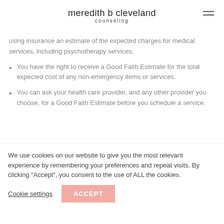meredith b cleveland counseling
using insurance an estimate of the expected charges for medical services, including psychotherapy services.
You have the right to receive a Good Faith Estimate for the total expected cost of any non-emergency items or services.
You can ask your health care provider, and any other provider you choose, for a Good Faith Estimate before you schedule a service.
We use cookies on our website to give you the most relevant experience by remembering your preferences and repeat visits. By clicking “Accept”, you consent to the use of ALL the cookies.
Cookie settings   ACCEPT